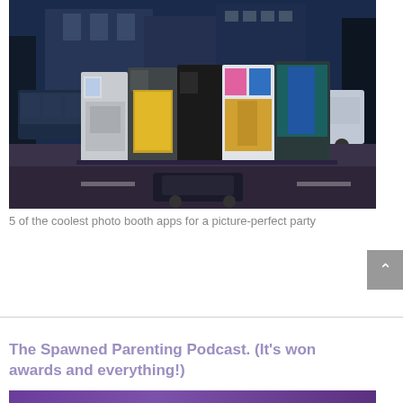[Figure (photo): Photo of several photo booths standing side by side on a city sidewalk. The booths vary in color including white/gray, yellow, black, and teal with a blue curtain. A bus and a delivery truck are visible in the background, along with trees and buildings. A car is on the street in the foreground. The overall color tone is dark blue/purple.]
5 of the coolest photo booth apps for a picture-perfect party
The Spawned Parenting Podcast. (It's won awards and everything!)